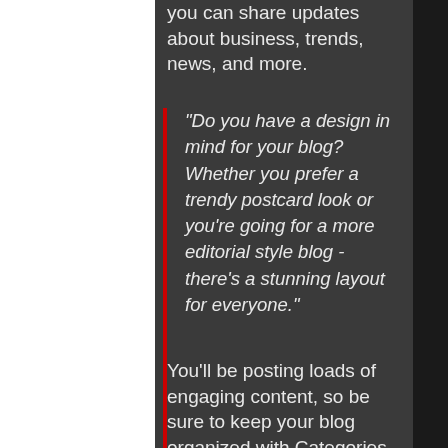you can share updates about business, trends, news, and more.
"Do you have a design in mind for your blog? Whether you prefer a trendy postcard look or you're going for a more editorial style blog - there's a stunning layout for everyone."
You'll be posting loads of engaging content, so be sure to keep your blog organized with Categories that also allow visitors to explore more of what interests them.